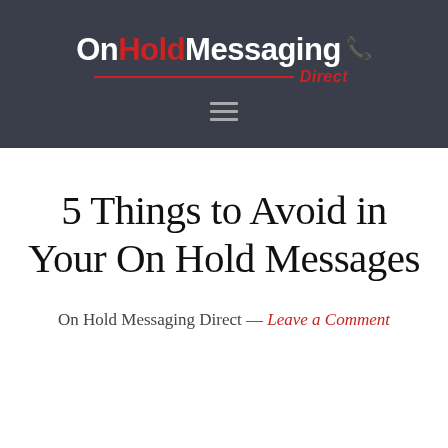[Figure (logo): On Hold Messaging Direct logo — white and red bold sans-serif text with a red horizontal rule and red italic 'Direct' word, plus a red phone handset icon, on a dark navy background]
5 Things to Avoid in Your On Hold Messages
On Hold Messaging Direct — Leave a Comment